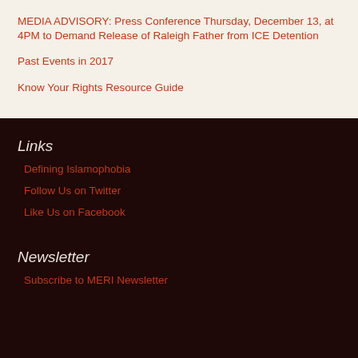MEDIA ADVISORY: Press Conference Thursday, December 13, at 4PM to Demand Release of Raleigh Father from ICE Detention
Past Events in 2017
Know Your Rights Resource Guide
Links
Defining Islamophobia
Follow Us on Twitter
Like Us on Facebook
Newsletter
Subscribe to MERI Newsletter